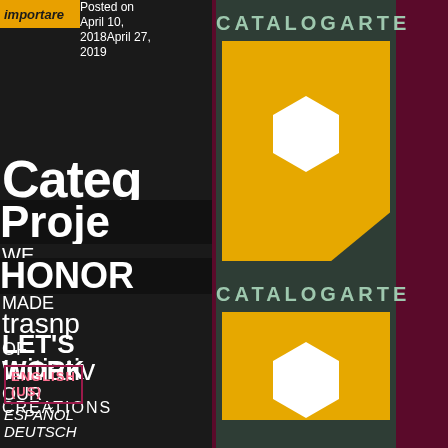[Figure (logo): importare logo with orange background and text]
Posted on April 10, 2018April 27, 2019
Categ
Proje
WE
HONOR
MADE
trasnp
OF
Initiativ
OUR
CREATIONS
LET'S
WORK
ENGLISH (US)
ESPAÑOL
DEUTSCH
[Figure (logo): CATALOGARTE card 1 - dark green card with CATALOGARTE text and yellow box with white hexagon]
[Figure (logo): CATALOGARTE card 2 - dark green card with CATALOGARTE text and yellow box with white hexagon partial]